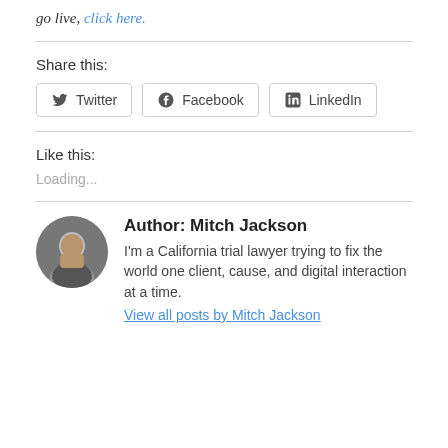go live, click here.
Share this:
[Figure (other): Social share buttons: Twitter, Facebook, LinkedIn]
Like this:
Loading...
Author: Mitch Jackson
I'm a California trial lawyer trying to fix the world one client, cause, and digital interaction at a time.
View all posts by Mitch Jackson